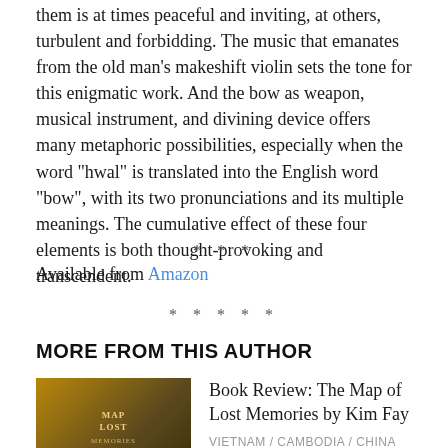them is at times peaceful and inviting, at others, turbulent and forbidding. The music that emanates from the old man's makeshift violin sets the tone for this enigmatic work. And the bow as weapon, musical instrument, and divining device offers many metaphoric possibilities, especially when the word "hwal" is translated into the English word "bow", with its two pronunciations and its multiple meanings. The cumulative effect of these four elements is both thought-provoking and transcendent.
* * *
Available from Amazon
* * * * *
MORE FROM THIS AUTHOR
[Figure (illustration): Book cover of The Map of Lost Memories showing warm toned illustration]
Book Review: The Map of Lost Memories by Kim Fay
VIETNAM / CAMBODIA / CHINA